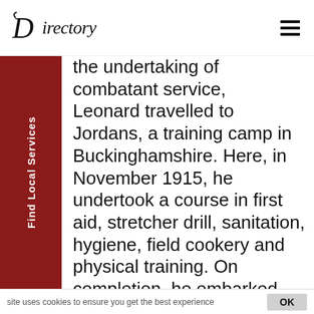Directory
the undertaking of combatant service, Leonard travelled to Jordans, a training camp in Buckinghamshire. Here, in November 1915, he undertook a course in first aid, stretcher drill, sanitation, hygiene, field cookery and physical training. On completion, he embarked from Folkestone to Boulogne and became a nursing orderly on Hospital Train 16.

20 members of the FAU lost their lives in
site uses cookies to ensure you get the best experience   OK